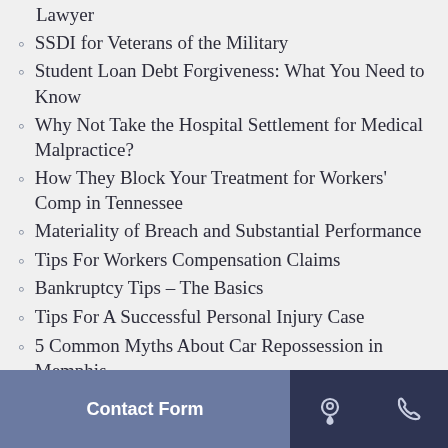Lawyer
SSDI for Veterans of the Military
Student Loan Debt Forgiveness: What You Need to Know
Why Not Take the Hospital Settlement for Medical Malpractice?
How They Block Your Treatment for Workers' Comp in Tennessee
Materiality of Breach and Substantial Performance
Tips For Workers Compensation Claims
Bankruptcy Tips – The Basics
Tips For A Successful Personal Injury Case
5 Common Myths About Car Repossession in Memphis
Tips For A Successful Wrongful Death Case
A Camp Lejeune Lawyer Memphis Trusts
Contact Form